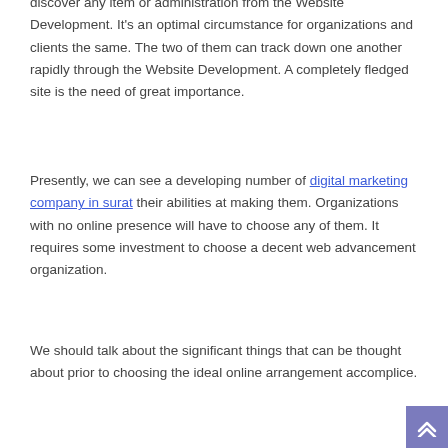discover any item or administration from the Website Development. It's an optimal circumstance for organizations and clients the same. The two of them can track down one another rapidly through the Website Development. A completely fledged site is the need of great importance.
Presently, we can see a developing number of digital marketing company in surat their abilities at making them. Organizations with no online presence will have to choose any of them. It requires some investment to choose a decent web advancement organization.
We should talk about the significant things that can be thought about prior to choosing the ideal online arrangement accomplice.